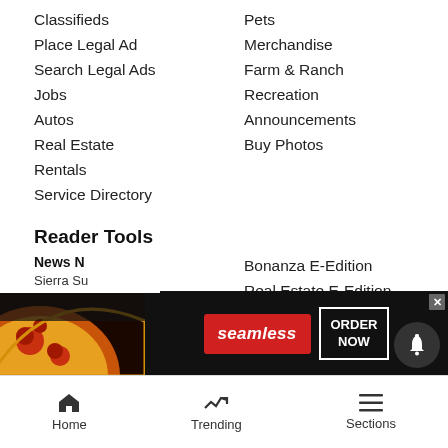Classifieds
Place Legal Ad
Search Legal Ads
Jobs
Autos
Real Estate
Rentals
Service Directory
Pets
Merchandise
Farm & Ranch
Recreation
Announcements
Buy Photos
Reader Tools
Contact Us
Submissions
Advertise
Archives
Newsletters
RSS
Tahoe Daily Tribune E-Edition
Bonanza E-Edition
Real Estate E-Edition
Lake Tahoe Action E-Edition
Cookie List
Do not sell my personal information
[Figure (infographic): Seamless food delivery advertisement banner with pizza imagery, seamless logo in red, and ORDER NOW button]
News N... Sierra Su...
Home  Trending  Sections